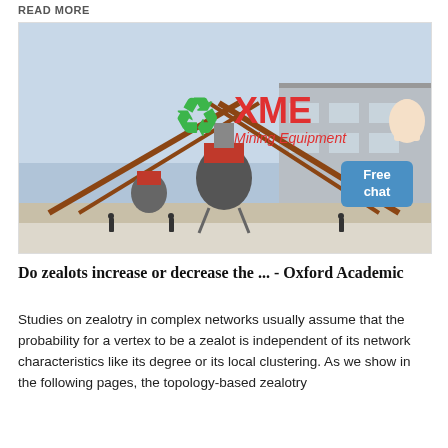READ MORE
[Figure (photo): Industrial mining equipment facility with large conveyor structures and machinery, with XME Mining Equipment logo overlaid in green and red text. A 'Free chat' badge appears in the top right corner.]
Do zealots increase or decrease the ... - Oxford Academic
Studies on zealotry in complex networks usually assume that the probability for a vertex to be a zealot is independent of its network characteristics like its degree or its local clustering. As we show in the following pages, the topology-based zealotry